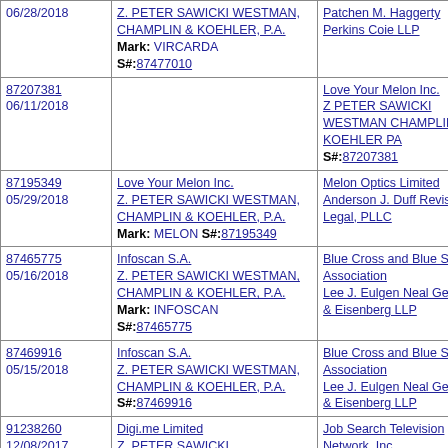| 06/28/2018 | Z. PETER SAWICKI WESTMAN, CHAMPLIN & KOEHLER, P.A.
Mark: VIRCARDA S#:87477010 | Patchen M. Haggerty Perkins Coie LLP |
| 87207381
06/11/2018 |  | Love Your Melon Inc.
Z PETER SAWICKI WESTMAN CHAMPLIN & KOEHLER PA
S#:87207381 |
| 87195349
05/29/2018 | Love Your Melon Inc.
Z. PETER SAWICKI WESTMAN, CHAMPLIN & KOEHLER, P.A.
Mark: MELON S#:87195349 | Melon Optics Limited
Anderson J. Duff Revision Legal, PLLC |
| 87465775
05/16/2018 | Infoscan S.A.
Z. PETER SAWICKI WESTMAN, CHAMPLIN & KOEHLER, P.A.
Mark: INFOSCAN S#:87465775 | Blue Cross and Blue Shield Association
Lee J. Eulgen Neal Gerber & Eisenberg LLP |
| 87469916
05/15/2018 | Infoscan S.A.
Z. PETER SAWICKI WESTMAN, CHAMPLIN & KOEHLER, P.A.
S#:87469916 | Blue Cross and Blue Shield Association
Lee J. Eulgen Neal Gerber & Eisenberg LLP |
| 91238260
12/08/2017 | Digi.me Limited
Z. PETER SAWICKI | Job Search Television Network, Inc. |